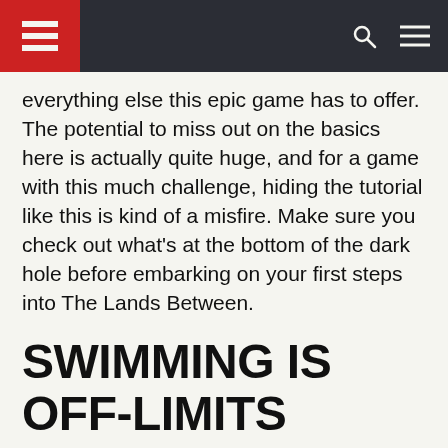[Logo] [Search] [Menu]
everything else this epic game has to offer. The potential to miss out on the basics here is actually quite huge, and for a game with this much challenge, hiding the tutorial like this is kind of a misfire. Make sure you check out what's at the bottom of the dark hole before embarking on your first steps into The Lands Between.
SWIMMING IS OFF-LIMITS
Don't try to swim in Elden Ring. If you step into deep water, you'll die. It seems while you're more than capable of wielding heavy weaponry and armour,